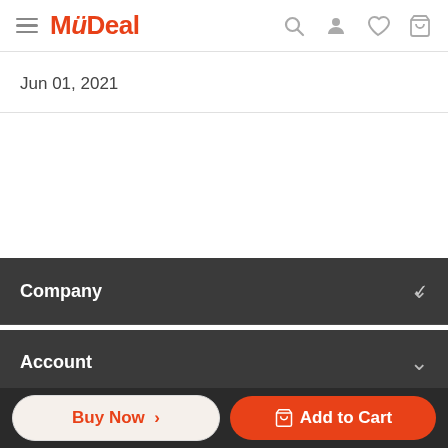MyDeal
Jun 01, 2021
Company
Account
Buy Now >
Add to Cart